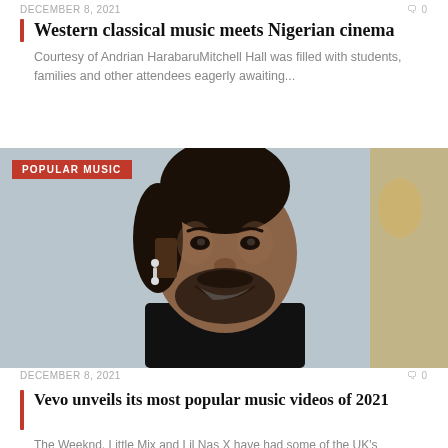DECEMBER 8, 2021
Western classical music meets Nigerian cinema
Courtesy of Andrian HarabaruMitchell Hall was filled with students, families and other attendees eagerly awaiting...
[Figure (photo): Close-up portrait of a smiling young man with curly hair and a beard, wearing a black outfit with a dangling earring; blurred golden statue in background. Category badge: POPULAR MUSIC]
DECEMBER 8, 2021
Vevo unveils its most popular music videos of 2021
The Weeknd, Little Mix and Lil Nas X have had some of the UK's